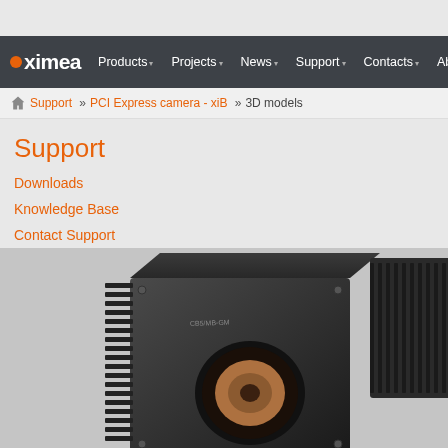ximea — Products | Projects | News | Support | Contacts | About
Support » PCI Express camera - xiB » 3D models
Support
Downloads
Knowledge Base
Contact Support
[Figure (photo): 3D model rendering of XIMEA xiB PCI Express industrial camera modules in black anodized aluminum housing with heat sink fins, showing the camera lens opening on the front of the unit.]